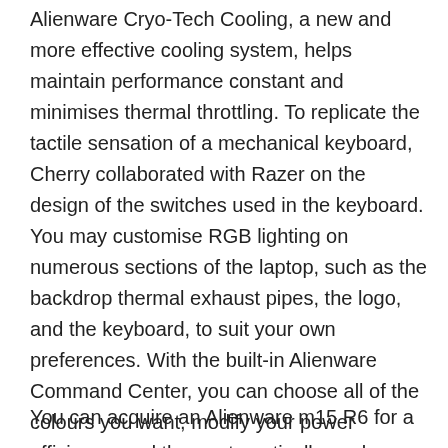Alienware Cryo-Tech Cooling, a new and more effective cooling system, helps maintain performance constant and minimises thermal throttling. To replicate the tactile sensation of a mechanical keyboard, Cherry collaborated with Razer on the design of the switches used in the keyboard. You may customise RGB lighting on numerous sections of the laptop, such as the backdrop thermal exhaust pipes, the logo, and the keyboard, to suit your own preferences. With the built-in Alienware Command Center, you can choose all of the colours you want, modify your power efficiency, and then automatically apply your settings to other games.
You can acquire an Alienware m15 R6 for a